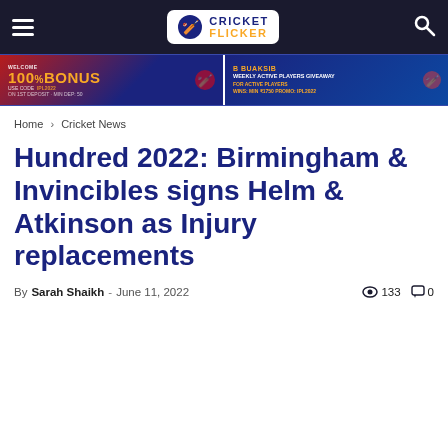Cricket Flicker — navigation header
[Figure (infographic): Advertising banner with 100% BONUS and BUAKSIB promotions]
Home › Cricket News
Hundred 2022: Birmingham & Invincibles signs Helm & Atkinson as Injury replacements
By Sarah Shaikh - June 11, 2022  133  0